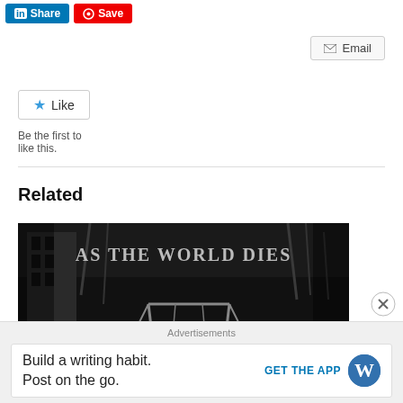[Figure (screenshot): LinkedIn Share button (blue) and Pinterest Save button (red) at top left]
[Figure (screenshot): Email button with envelope icon at top right]
[Figure (screenshot): Like button with star icon]
Be the first to like this.
Related
[Figure (photo): Black and white album cover or related image showing text 'AS THE WORLD DIES' with dark post-apocalyptic scene featuring a swing set]
Advertisements
[Figure (screenshot): WordPress advertisement banner: 'Build a writing habit. Post on the go.' with GET THE APP button and WordPress logo]